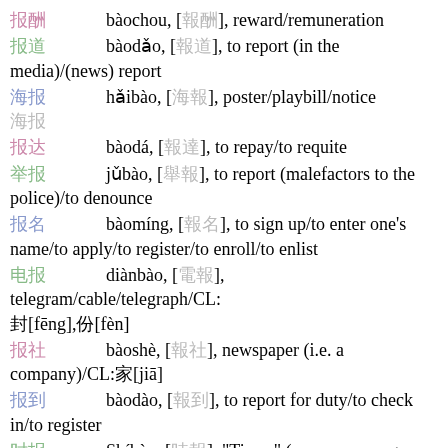报酬 bàochou, [報酬], reward/remuneration
报道 bàodǎo, [報道], to report (in the media)/(news) report
海报 hǎibào, [海報], poster/playbill/notice 海报
报达 bàodá, [報達], to repay/to requite
举报 jǔbào, [舉報], to report (malefactors to the police)/to denounce
报名 bàomíng, [報名], to sign up/to enter one's name/to apply/to register/to enroll/to enlist
电报 diànbào, [電報], telegram/cable/telegraph/CL:封[fēng],份[fèn]
报社 bàoshè, [報社], newspaper (i.e. a company)/CL:家[jiā]
报到 bàodào, [報到], to report for duty/to check in/to register
时报 Shíbào, [時報], "Times" (newspaper, e.g.